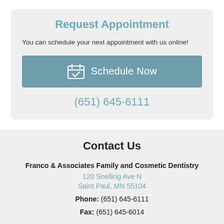Request Appointment
You can schedule your next appointment with us online!
[Figure (other): Blue button with calendar icon and text 'Schedule Now']
(651) 645-6111
Contact Us
Franco & Associates Family and Cosmetic Dentistry
120 Snelling Ave N
Saint Paul, MN 55104
Phone: (651) 645-6111
Fax: (651) 645-6014